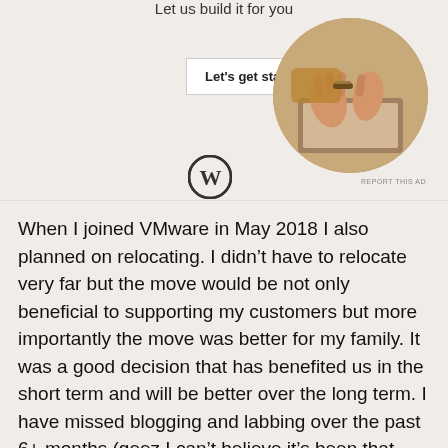Let us build it for you
[Figure (screenshot): A white button labeled 'Let's get started' and a circular photo of hands typing on a laptop, along with a WordPress logo and 'REPORT THIS AD' link]
REPORT THIS AD
When I joined VMware in May 2018 I also planned on relocating. I didn't have to relocate very far but the move would be not only beneficial to supporting my customers but more importantly the move was better for my family. It was a good decision that has benefited us in the short term and will be better over the long term. I have missed blogging and labbing over the past 6+ months (geez I can't believe it's been that long) but I'm happy to be back!